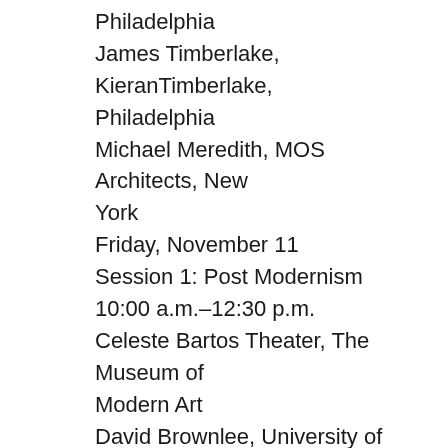Philadelphia
James Timberlake, KieranTimberlake, Philadelphia
Michael Meredith, MOS Architects, New York
Friday, November 11
Session 1: Post Modernism
10:00 a.m.–12:30 p.m.
Celeste Bartos Theater, The Museum of Modern Art
David Brownlee, University of Pennsylvania (moderator)
Stanislaus von Moos, University of Zurich: “CCA or: Architecture as Perception”